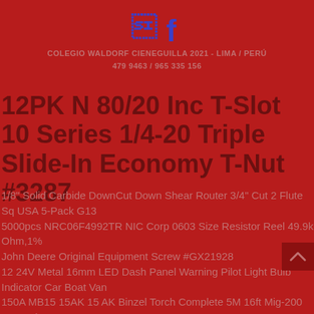[Figure (logo): Facebook 'f' logo icon in blue]
COLEGIO WALDORF CIENEGUILLA 2021 - LIMA / PERÚ
479 9463 / 965 335 156
12PK N 80/20 Inc T-Slot 10 Series 1/4-20 Triple Slide-In Economy T-Nut #3287
1/8" Solid Carbide DownCut Down Shear Router 3/4" Cut 2 Flute Sq USA 5-Pack G13
5000pcs NRC06F4992TR NIC Corp 0603 Size Resistor Reel 49.9k Ohm,1%
John Deere Original Equipment Screw #GX21928
12 24V Metal 16mm LED Dash Panel Warning Pilot Light Bulb Indicator Car Boat Van
150A MB15 15AK 15 AK Binzel Torch Complete 5M 16ft Mig-200 Euro Mig Gun
receive now Website Traffic 101 Video Course see unbelievable bonus